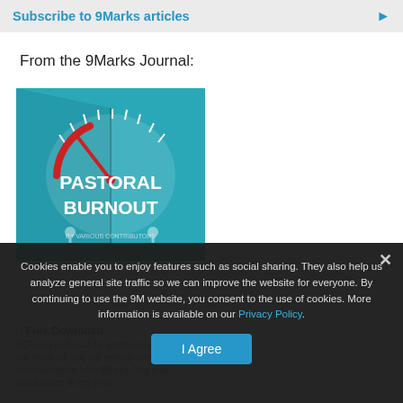Subscribe to 9Marks articles ▶
From the 9Marks Journal:
[Figure (illustration): Book cover of 9Marks Journal issue titled 'Pastoral Burnout' — teal/cyan colored open book with a speedometer dial graphic in red and white, small figure of a person.]
Free Download PDF and audio will be sent to you. As part of our email list, you will receive content & communication from 9Marks. You may unsubscribe at any time.
Cookies enable you to enjoy features such as social sharing. They also help us analyze general site traffic so we can improve the website for everyone. By continuing to use the 9M website, you consent to the use of cookies. More information is available on our Privacy Policy.
I Agree